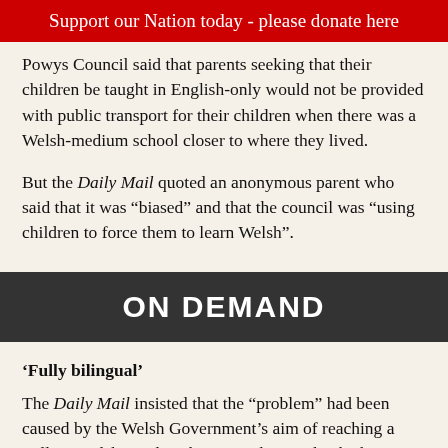Support our Nation today - please donate here
Powys Council said that parents seeking that their children be taught in English-only would not be provided with public transport for their children when there was a Welsh-medium school closer to where they lived.
But the Daily Mail quoted an anonymous parent who said that it was “biased” and that the council was “using children to force them to learn Welsh”.
[Figure (other): Dark banner graphic with bold white text reading ON DEMAND]
‘Fully bilingual’
The Daily Mail insisted that the “problem” had been caused by the Welsh Government’s aim of reaching a million Welsh speakers by 2050, they said, which